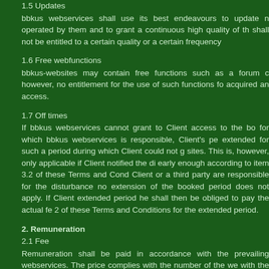1.5 Updates
bbkus webservices shall use its best endeavours to update n operated by them and to grant a continuous high quality of th shall not be entitled to a certain quality or a certain frequency
1.6 Free webfunctions
bbkus-websites may contain free functions such as a forum c however, no entitlement for the use of such functions fo acquired an access.
1.7 Off times
If bbkus webservices cannot grant to Client access to the bo for which bbkus webservices is responsible, Client's pe extended for such a period during which Client could not g sites. This is, however, only applicable if Client notified the di early enough according to item 3.2 of these Terms and Con Client or a third party are responsible for the disturbance n extension of the booked period does not apply. If Clien extended period he shall then be obliged to pay the actual f 2 of these Terms and Conditions for the extended period.
2. Remuneration
2.1 Fee
Remuneration shall be paid in accordance with the prevailing webservices. The price complies with the number of the w with the access duration chosen per website. Prior to c prevailing fees are disclosed to Client on the relevant webservices.
2.2 Type of payment
Client must pay according to prevailing fees for access